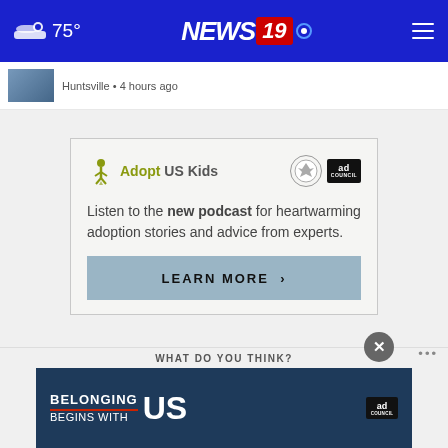75° NEWS 19
Huntsville • 4 hours ago
[Figure (infographic): Adopt US Kids advertisement: logos for Adopt US Kids, HHS, and Ad Council. Text reads: Listen to the new podcast for heartwarming adoption stories and advice from experts. LEARN MORE >]
[Figure (infographic): Belonging Begins With US banner ad with Ad Council logo]